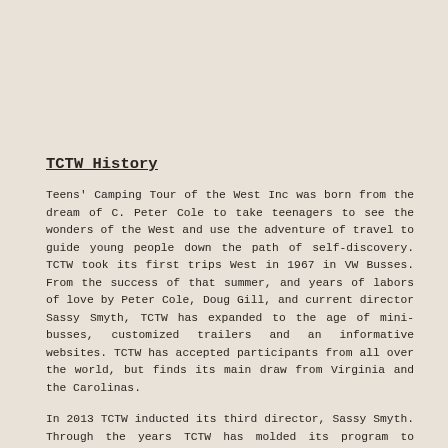TCTW History
Teens' Camping Tour of the West Inc was born from the dream of C. Peter Cole to take teenagers to see the wonders of the West and use the adventure of travel to guide young people down the path of self-discovery. TCTW took its first trips West in 1967 in VW Busses. From the success of that summer, and years of labors of love by Peter Cole, Doug Gill, and current director Sassy Smyth, TCTW has expanded to the age of mini-busses, customized trailers and an informative websites. TCTW has accepted participants from all over the world, but finds its main draw from Virginia and the Carolinas.
In 2013 TCTW inducted its third director, Sassy Smyth. Through the years TCTW has molded its program to embody six significant principles: love yourself, love others, appreciate nature, realize that you have been given unique gifts, recognize that it is